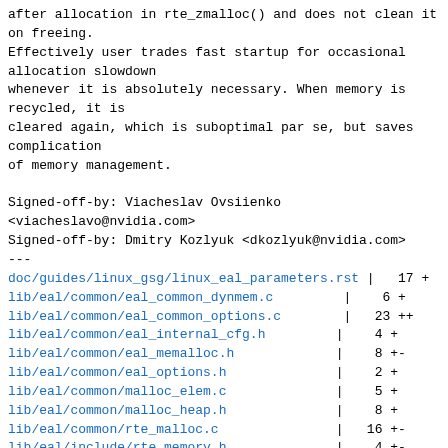after allocation in rte_zmalloc() and does not clean it
on freeing.
Effectively user trades fast startup for occasional
allocation slowdown
whenever it is absolutely necessary. When memory is
recycled, it is
cleared again, which is suboptimal par se, but saves
complication
of memory management.
Signed-off-by: Viacheslav Ovsiienko
<viacheslavo@nvidia.com>
Signed-off-by: Dmitry Kozlyuk <dkozlyuk@nvidia.com>
---
| file | | | changes |
| --- | --- | --- |
| doc/guides/linux_gsg/linux_eal_parameters.rst | | | 17 + |
| lib/eal/common/eal_common_dynmem.c | | | 6 + |
| lib/eal/common/eal_common_options.c | | | 23 ++ |
| lib/eal/common/eal_internal_cfg.h | | | 4 + |
| lib/eal/common/eal_memalloc.h | | | 8 +- |
| lib/eal/common/eal_options.h | | | 2 + |
| lib/eal/common/malloc_elem.c | | | 5 + |
| lib/eal/common/malloc_heap.h | | | 8 + |
| lib/eal/common/rte_malloc.c | | | 16 +- |
| lib/eal/include/rte_memory.h | | | 4 +- |
| lib/eal/linux/eal.c | | | 28 ++ |
| lib/eal/linux/eal_hugepage_info.c | | | 5 + |
| lib/eal/linux/eal_memalloc.c | | | 328 |
++++++++++++++++-
13 files changed, 441 insertions(+), 13 deletions(-)